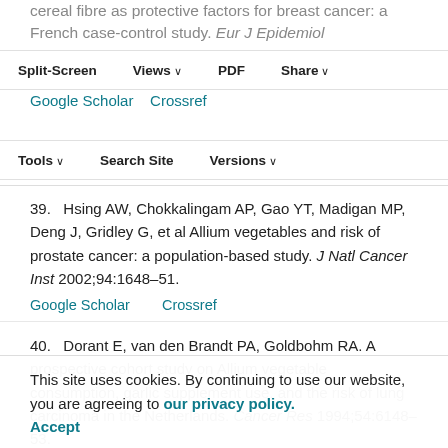cereal fibre as protective factors for breast cancer: a French case-control study. Eur J Epidemiol 1998;14:737–47.
Split-Screen | Views | PDF | Share | Tools | Search Site | Versions
Google Scholar   Crossref
39.  Hsing AW, Chokkalingam AP, Gao YT, Madigan MP, Deng J, Gridley G, et al Allium vegetables and risk of prostate cancer: a population-based study. J Natl Cancer Inst 2002;94:1648–51.
Google Scholar   Crossref
40.  Dorant E, van den Brandt PA, Goldbohm RA. A prospective cohort study on Allium vegetable consumption, garlic supplement use, and the risk of lung carcinoma in the Netherlands. Cancer Res 1994;54:6148–53.
41.  Dorant E, van den Brandt PA, Goldbohm RA. Allium vegetable consumption, garlic supplement
This site uses cookies. By continuing to use our website, you are agreeing to our privacy policy. Accept